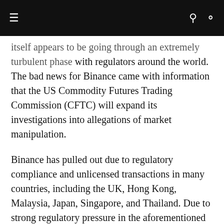Navigation bar with menu, search, and user icons
itself appears to be going through an extremely turbulent phase with regulators around the world. The bad news for Binance came with information that the US Commodity Futures Trading Commission (CFTC) will expand its investigations into allegations of market manipulation.
Binance has pulled out due to regulatory compliance and unlicensed transactions in many countries, including the UK, Hong Kong, Malaysia, Japan, Singapore, and Thailand. Due to strong regulatory pressure in the aforementioned countries, Binance has implemented a number of reforms and new initiatives to bring them in line with the rules. Limits on withdrawals were reduced and a tax reporting system was introduced. The exchange has also temporarily suspended or restricted its services in certain regions of the world with stricter rules and verification requirements.
Many influential authorities believe that these allegations of market manipulation by binance trading signals, which will be investigated by US regulators, will be Binance's biggest test. If the exchange can fix that it will definitely predict that th